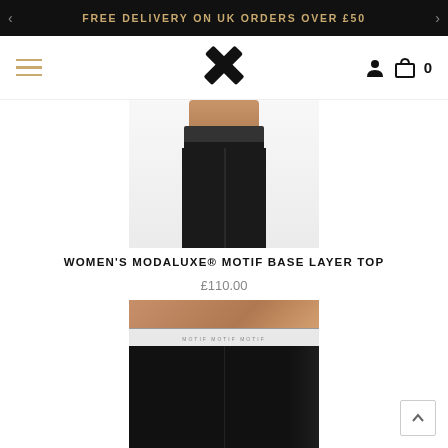FREE DELIVERY ON UK ORDERS OVER £50
[Figure (screenshot): Navigation bar with hamburger menu (gold lines), X-cross logo in center, user icon and cart icon with 0 count on right]
[Figure (photo): Product photo showing lower body wearing black fitted leggings/base layer on white background]
WOMEN'S MODALUXE® MOTIF BASE LAYER TOP
£110.00
[Figure (photo): Close-up product photo showing black athletic shorts/leggings with white waistband featuring brand motif, skin visible above waistband]